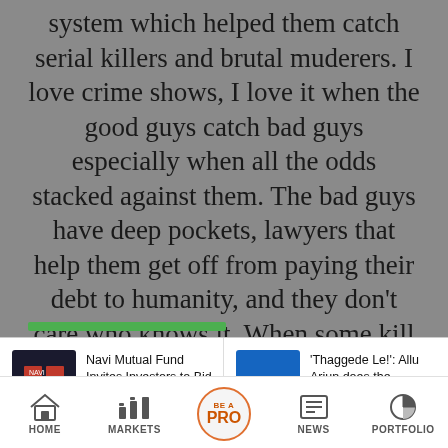system which helped them catch serial killers and brutal muderers. I love crime shows, I love it when the good guys catch bad guys especially when all the odds stacked against them. The bad guys have deep pockets, lawyers that help them get off from paying their debt to humanity, and they don't care who knows it. When some kill for pleasure, and others because they can, how do they put them away? This show takes you back to the days when the brave chaps in the FBI had to convince their own that profiling will help catch criminals.
[Figure (screenshot): News card: Navi Mutual Fund Invites Investors to Bid... with dark thumbnail image]
[Figure (screenshot): News card: 'Thaggede Le!': Allu Arjun does the 'Pushpa' ... with blue thumbnail image]
[Figure (screenshot): Mobile app navigation bar with HOME, MARKETS, BE A PRO, NEWS, PORTFOLIO icons]